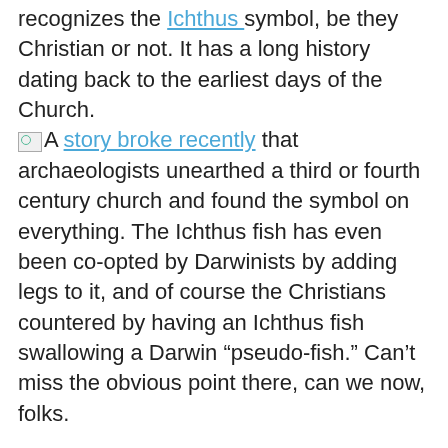recognizes the Ichthus symbol, be they Christian or not. It has a long history dating back to the earliest days of the Church. [Ichthus symbol] A story broke recently that archaeologists unearthed a third or fourth century church and found the symbol on everything. The Ichthus fish has even been co-opted by Darwinists by adding legs to it, and of course the Christians countered by having an Ichthus fish swallowing a Darwin “pseudo-fish.” Can’t miss the obvious point there, can we now, folks.
I’m venturing a guess that at least a third of the people who read this post will, in reality, have an Ichthus or some other Jesus ID on their vehicle. I think about three-quarters of the folks at my church self-identify that way, but I’m sure that’s countered by all the